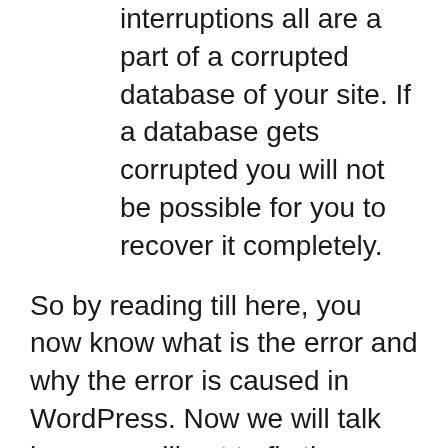as well as data transfer interruptions all are a part of a corrupted database of your site. If a database gets corrupted you will not be possible for you to recover it completely.
So by reading till here, you now know what is the error and why the error is caused in WordPress. Now we will talk how you will get to fix the problem within a few minutes in WordPress.
You can easily use the WordPress' Repair Database